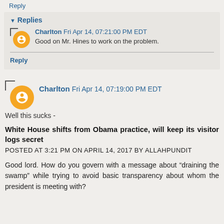Reply
▾ Replies
Charlton  Fri Apr 14, 07:21:00 PM EDT
Good on Mr. Hines to work on the problem.
Reply
Charlton  Fri Apr 14, 07:19:00 PM EDT
Well this sucks -
White House shifts from Obama practice, will keep its visitor logs secret
POSTED AT 3:21 PM ON APRIL 14, 2017 BY ALLAHPUNDIT
Good lord. How do you govern with a message about “draining the swamp” while trying to avoid basic transparency about whom the president is meeting with?